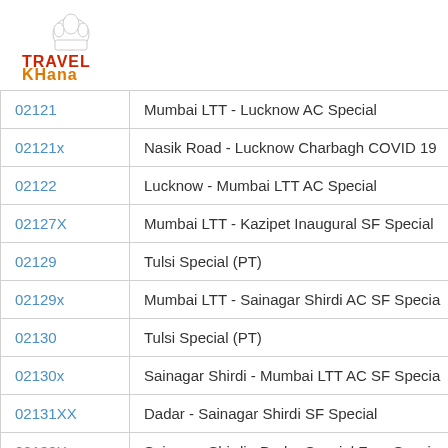[Figure (logo): Travel Khana logo with chef hat icon, red and orange text]
| Train Number | Train Name |
| --- | --- |
| 02121 | Mumbai LTT - Lucknow AC Special |
| 02121x | Nasik Road - Lucknow Charbagh COVID 19 |
| 02122 | Lucknow - Mumbai LTT AC Special |
| 02127X | Mumbai LTT - Kazipet Inaugural SF Special |
| 02129 | Tulsi Special (PT) |
| 02129x | Mumbai LTT - Sainagar Shirdi AC SF Specia |
| 02130 | Tulsi Special (PT) |
| 02130x | Sainagar Shirdi - Mumbai LTT AC SF Specia |
| 02131XX | Dadar - Sainagar Shirdi SF Special |
| 02132X | Sainagar Shirdi - Dadar Special Fare Specia |